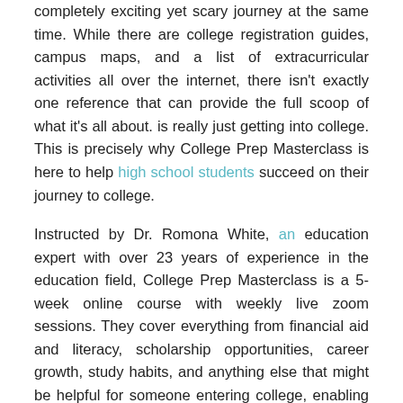completely exciting yet scary journey at the same time. While there are college registration guides, campus maps, and a list of extracurricular activities all over the internet, there isn't exactly one reference that can provide the full scoop of what it's all about. is really just getting into college. This is precisely why College Prep Masterclass is here to help high school students succeed on their journey to college.
Instructed by Dr. Romona White, an education expert with over 23 years of experience in the education field, College Prep Masterclass is a 5-week online course with weekly live zoom sessions. They cover everything from financial aid and literacy, scholarship opportunities, career growth, study habits, and anything else that might be helpful for someone entering college, enabling them to reach his full potential and achieve more than he ever could have imagined.
At College Prep Masterclass, Dr. White is committed to building a stronger, brighter, and more prosperous future for his students. As she always says, “Ready to finish hat and dress strong!”
Learn more about College Prep Masterclass by visiting their website